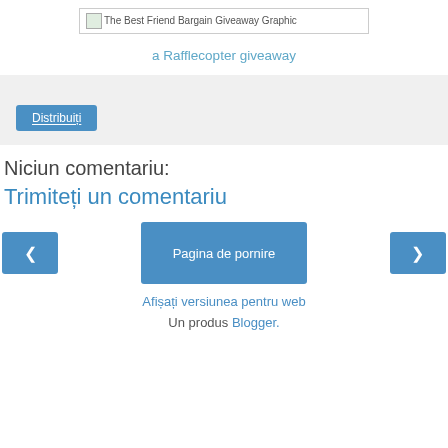[Figure (other): Broken image placeholder for The Best Friend Bargain Giveaway Graphic]
a Rafflecopter giveaway
[Figure (other): Share section with Distribuiti button on light grey background]
Niciun comentariu:
Trimiteți un comentariu
< | Pagina de pornire | >
Afișați versiunea pentru web
Un produs Blogger.